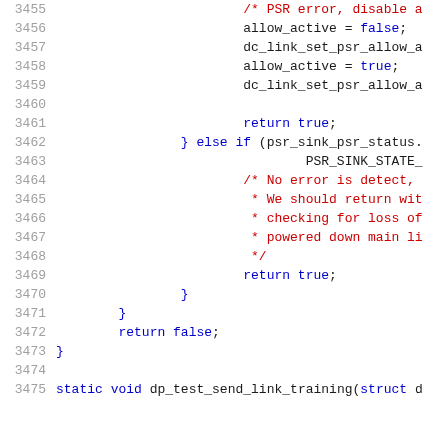[Figure (screenshot): Source code listing showing lines 3455-3475 of a C file with syntax highlighting. Line numbers in gray on the left, code in dark/blue/red colors. Contains PSR (Panel Self Refresh) related functions including error handling and dp_test_send_link_training function declaration.]